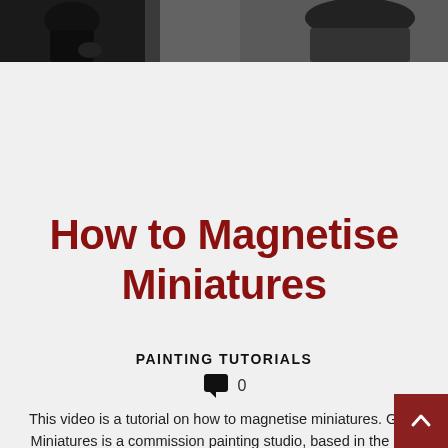[Figure (photo): Two partial photo thumbnails at top: left shows a dark miniature figure, right shows another dark miniature figure, both on a grey/black background]
How to Magnetise Miniatures
PAINTING TUTORIALS
0
This video is a tutorial on how to magnetise miniatures. GMP Miniatures is a commission painting studio, based in the UK. Check out our: